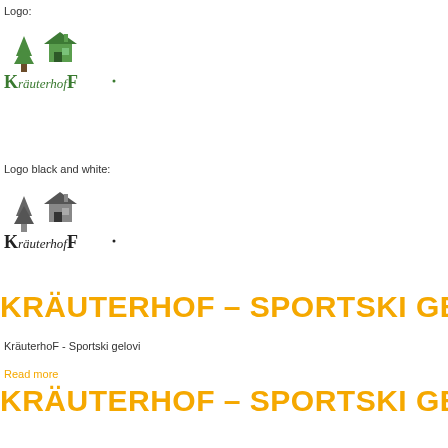Logo:
[Figure (logo): Kräuterhof color logo with green house/tree illustration and green text]
Logo black and white:
[Figure (logo): Kräuterhof black and white logo with grayscale house/tree illustration and black text]
KRÄUTERHOF – SPORTSKI GELOVI
KräuterhoF - Sportski gelovi
Read more
KRÄUTERHOF – SPORTSKI GELOVI